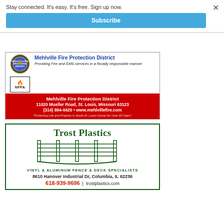Stay connected. It's easy. It's free. Sign up now.
Subscribe
[Figure (illustration): Mehlville Fire Protection District advertisement with badge logo, NFPA logo, red background block with address and phone number, and tagline.]
[Figure (illustration): Trost Plastics advertisement showing company name, fence graphic, and contact information.]